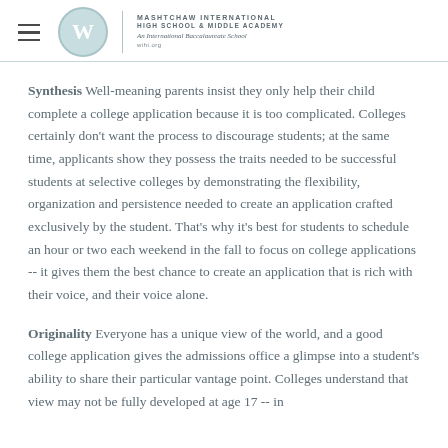MASHTCHAW INTERNATIONAL HIGH SCHOOL & MIDDLE ACADEMY | An International Baccalaureate School | wihi.org
Synthesis Well-meaning parents insist they only help their child complete a college application because it is too complicated. Colleges certainly don't want the process to discourage students; at the same time, applicants show they possess the traits needed to be successful students at selective colleges by demonstrating the flexibility, organization and persistence needed to create an application crafted exclusively by the student. That's why it's best for students to schedule an hour or two each weekend in the fall to focus on college applications -- it gives them the best chance to create an application that is rich with their voice, and their voice alone.
Originality Everyone has a unique view of the world, and a good college application gives the admissions office a glimpse into a student's ability to share their particular vantage point. Colleges understand that view may not be fully developed at age 17 -- in